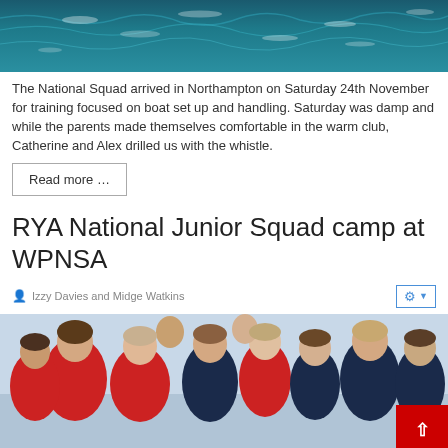[Figure (photo): Aerial or close-up view of choppy dark blue-green water with white wave crests]
The National Squad arrived in Northampton on Saturday 24th November for training focused on boat set up and handling. Saturday was damp and while the parents made themselves comfortable in the warm club, Catherine and Alex drilled us with the whistle.
Read more …
RYA National Junior Squad camp at WPNSA
Izzy Davies and Midge Watkins
[Figure (photo): Group of young sailors wearing red and dark navy jackets, standing together outdoors, some talking and laughing]